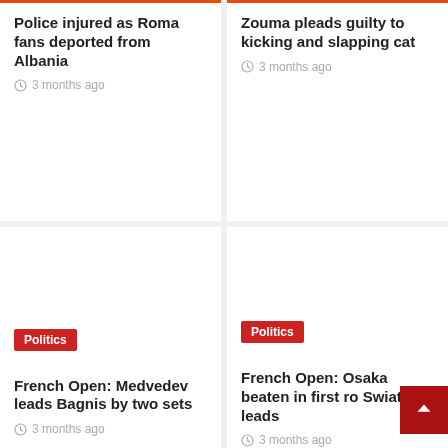Police injured as Roma fans deported from Albania
3 months ago
Zouma pleads guilty to kicking and slapping cat
3 months ago
[Figure (other): Blank white image placeholder for article about French Open: Medvedev leads Bagnis by two sets]
Politics
French Open: Medvedev leads Bagnis by two sets
3 months ago
[Figure (other): Blank white image placeholder for article about French Open: Osaka beaten in first round, Swiatek leads]
Politics
French Open: Osaka beaten in first ro Swiatek leads
3 months ago